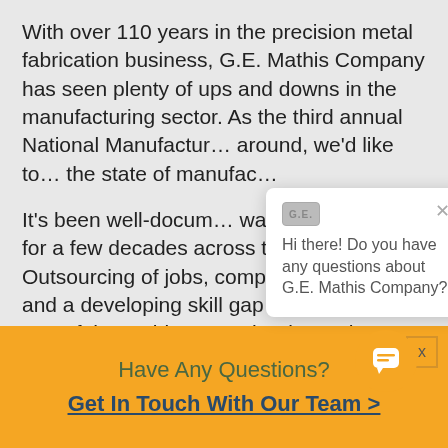With over 110 years in the precision metal fabrication business, G.E. Mathis Company has seen plenty of ups and downs in the manufacturing sector. As the third annual National Manufacturing… around, we'd like to… the state of manufac…
[Figure (screenshot): Chat popup widget showing G.E. Mathis Company logo and message: 'Hi there! Do you have any questions about G.E. Mathis Company?' with a close (X) button.]
It's been well-docum… was on the decline for a few decades across the nation. Outsourcing of jobs, companies o… move, and a developing skill gap were all s… as part of the problem. Another issue that…
[Figure (other): Orange circular chat button icon]
Have Any Questions?
Get In Touch With Our Team >